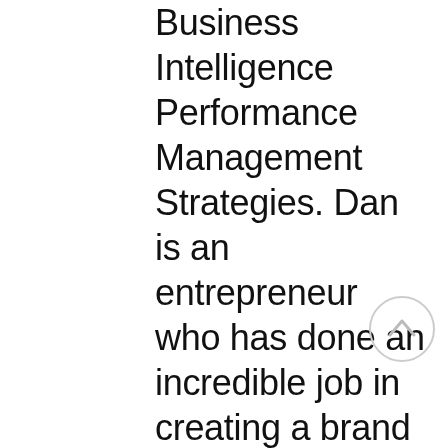Business Intelligence Performance Management Strategies. Dan is an entrepreneur who has done an incredible job in creating a brand called CampIT Conferences. I was impressed with his professionalism and the way the conference was executed. Dan is a dedicated executive who strives to provide great value to the sponsors and attendees of CampIT Conferences. I highly recommend a CampIT Conferences experience as an attendee and/or a sponsor.